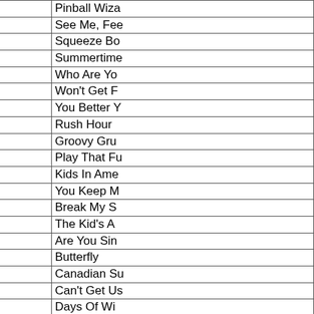| Artist | Song |
| --- | --- |
| The Who | Pinball Wiza... |
| The Who | See Me, Fee... |
| The Who | Squeeze Bo... |
| The Who | Summertime... |
| The Who | Who Are Yo... |
| The Who | Won't Get F... |
| The Who | You Better Y... |
| Jane Wiedlin | Rush Hour |
| Harlow Wilcox / The Oakies | Groovy Gru... |
| Wild Cherry | Play That Fu... |
| Kim Wilde | Kids In Ame... |
| Kim Wilde | You Keep M... |
| Matthew Wilder | Break My S... |
| Matthew Wilder | The Kid's A... |
| Andy Williams | Are You Sin... |
| Andy Williams | Butterfly |
| Andy Williams | Canadian Su... |
| Andy Williams | Can't Get Us... |
| Andy Williams | Days Of Wi... |
| Andy Williams | Hawaiian W... |
| Andy Williams | Lonely Stree... |
| Andy Williams | Moon River |
| Billy Williams | I'm Gonna S... |
| Billy Williams | Nola |